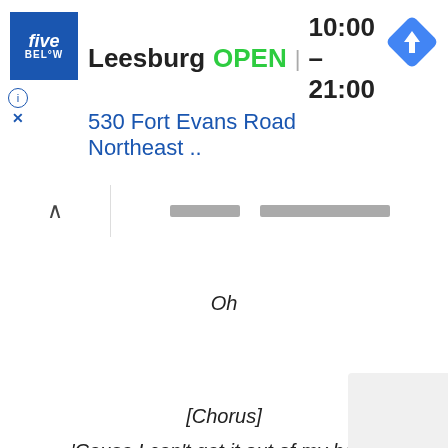[Figure (screenshot): Five Below store ad banner showing Leesburg location, OPEN status, hours 10:00–21:00, address 530 Fort Evans Road Northeast, with navigation icon]
Oh
[Chorus]
'Cause I can't get it out of my head